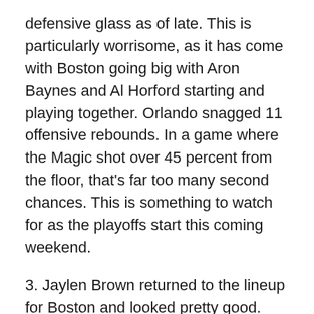defensive glass as of late. This is particularly worrisome, as it has come with Boston going big with Aron Baynes and Al Horford starting and playing together. Orlando snagged 11 offensive rebounds. In a game where the Magic shot over 45 percent from the floor, that's far too many second chances. This is something to watch for as the playoffs start this coming weekend.
3. Jaylen Brown returned to the lineup for Boston and looked pretty good. Brown's speed and explosiveness are huge for the Celtics off the bench. He's the yin to Gordon Hayward's yang. Hayward plays a measured game, whereas Brown is on the attack from the moment he hits the floor. Here you can see Brown get out and running and finish over Jonathan Isaac at the rim, through some contact: